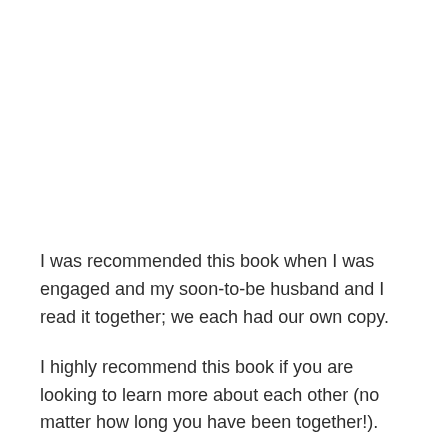I was recommended this book when I was engaged and my soon-to-be husband and I read it together; we each had our own copy.
I highly recommend this book if you are looking to learn more about each other (no matter how long you have been together!).